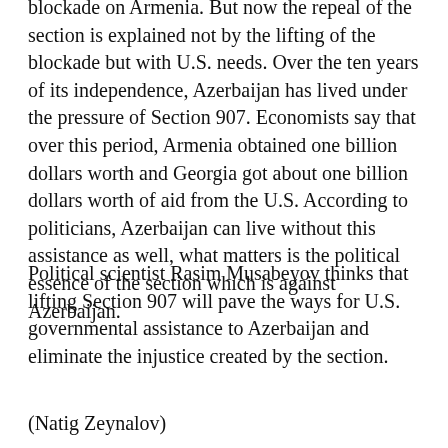blockade on Armenia. But now the repeal of the section is explained not by the lifting of the blockade but with U.S. needs. Over the ten years of its independence, Azerbaijan has lived under the pressure of Section 907. Economists say that over this period, Armenia obtained one billion dollars worth and Georgia got about one billion dollars worth of aid from the U.S. According to politicians, Azerbaijan can live without this assistance as well, what matters is the political essence of the section which is against Azerbaijan.
Political scientist Rasim Musabeyov thinks that lifting Section 907 will pave the ways for U.S. governmental assistance to Azerbaijan and eliminate the injustice created by the section.
(Natig Zeynalov)